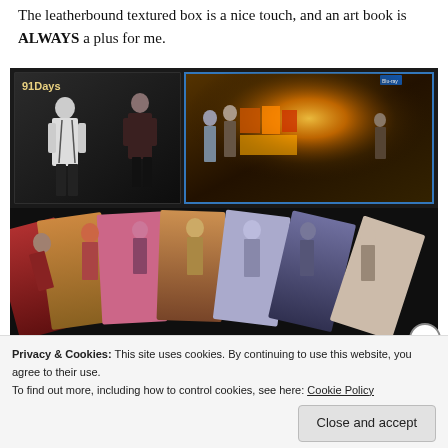The leatherbound textured box is a nice touch, and an art book is ALWAYS a plus for me.
[Figure (photo): Photo of 91Days anime Blu-ray box set showing the box cover with two anime characters, a Blu-ray disc case open showing anime art, and a fan of character art cards spread below.]
Privacy & Cookies: This site uses cookies. By continuing to use this website, you agree to their use.
To find out more, including how to control cookies, see here: Cookie Policy
Close and accept